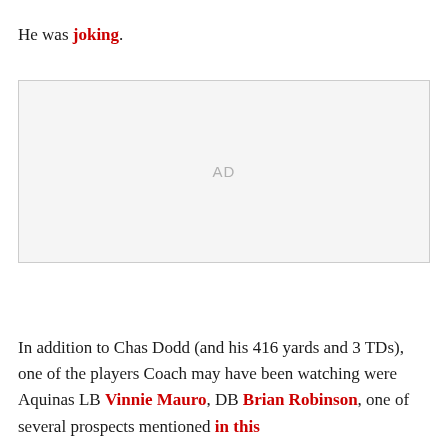He was joking.
[Figure (other): Advertisement placeholder box with 'AD' label in gray text]
In addition to Chas Dodd (and his 416 yards and 3 TDs), one of the players Coach may have been watching were Aquinas LB Vinnie Mauro, DB Brian Robinson, one of several prospects mentioned in this